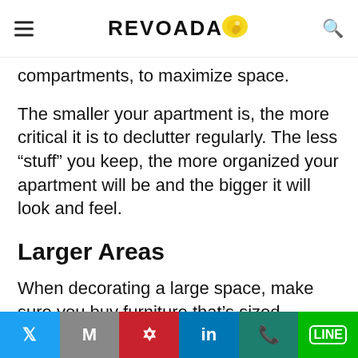REVOADA
compartments, to maximize space.
The smaller your apartment is, the more critical it is to declutter regularly. The less “stuff” you keep, the more organized your apartment will be and the bigger it will look and feel.
Larger Areas
When decorating a large space, make sure you buy furniture that’s sized appropriately. An oversized couch, a massive accent chair in
Twitter | Mail | Pinterest | LinkedIn | WhatsApp | Line